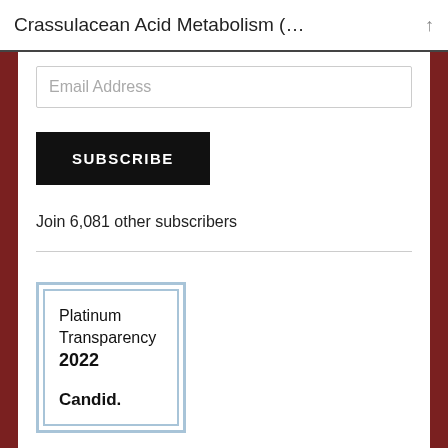Crassulacean Acid Metabolism (…
Email Address
SUBSCRIBE
Join 6,081 other subscribers
[Figure (logo): Platinum Transparency 2022 Candid. badge with light blue double border frame]
Platinum Transparency 2022
Candid.